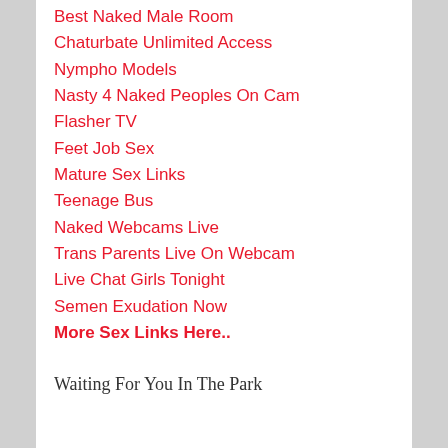Best Naked Male Room
Chaturbate Unlimited Access
Nympho Models
Nasty 4 Naked Peoples On Cam
Flasher TV
Feet Job Sex
Mature Sex Links
Teenage Bus
Naked Webcams Live
Trans Parents Live On Webcam
Live Chat Girls Tonight
Semen Exudation Now
More Sex Links Here..
Waiting For You In The Park